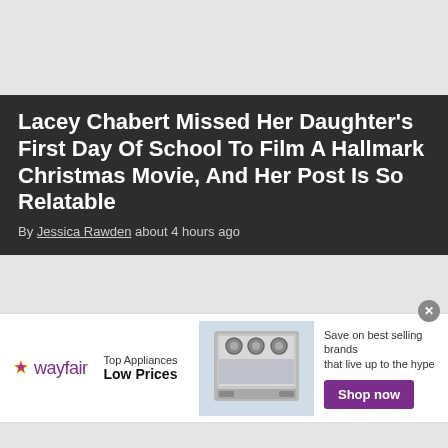Lacey Chabert Missed Her Daughter's First Day Of School To Film A Hallmark Christmas Movie, And Her Post Is So Relatable
By Jessica Rawden about 4 hours ago
[Figure (infographic): Wayfair advertisement banner featuring the Wayfair logo with colorful star, text 'Top Appliances Low Prices', an image of a stainless steel range/oven, and a purple 'Shop now' button with text 'Save on best selling brands that live up to the hype']